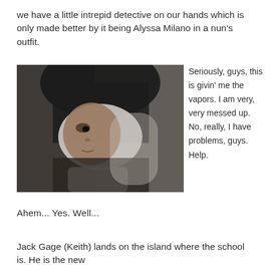we have a little intrepid detective on our hands which is only made better by it being Alyssa Milano in a nun's outfit.
[Figure (photo): Close-up photograph of a person dressed as a nun, wearing a white and dark habit, looking to the side. The image is slightly dark and grainy.]
Seriously, guys, this is givin' me the vapors.  I am very, very messed up.  No, really, I have problems, guys.  Help.
Ahem...  Yes.  Well...
Jack Gage (Keith) lands on the island where the school is.  He is the new